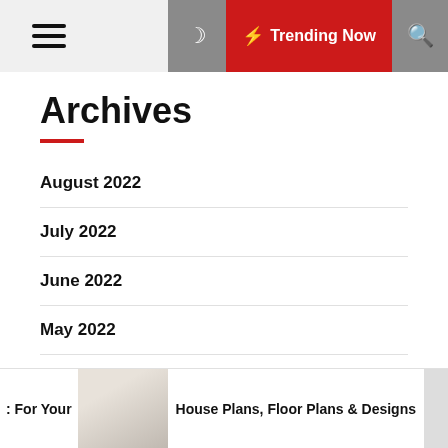☰ ☽ ⚡ Trending Now 🔍
Archives
August 2022
July 2022
June 2022
May 2022
April 2022
March 2022
: For Your  House Plans, Floor Plans & Designs